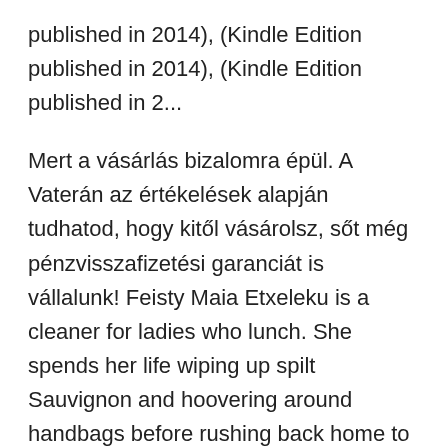published in 2014), (Kindle Edition published in 2014), (Kindle Edition published in 2...
Mert a vásárlás bizalomra épül. A Vaterán az értékelések alapján tudhatod, hogy kitől vásárolsz, sőt még pénzvisszafizetési garanciát is vállalunk! Feisty Maia Etxeleku is a cleaner for ladies who lunch. She spends her life wiping up spilt Sauvignon and hoovering around handbags before rushing back home to her
Buy The School Gate Survival Guide by Kerry Fisher (ISBN: 9780007570232) from Amazon's Book Store. Everyday low prices and free delivery on eligible orders. Back to school Teacher Network How to handle parents: a survival guide for new teachers You may chat at the gate or in a comfortable private area.